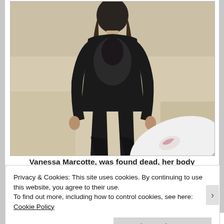[Figure (photo): A woman in a black Quiksilver wetsuit standing on a sandy beach with a white surfboard visible in the lower right corner. She has long brown hair and is looking at the camera.]
Vanessa Marcotte, was found dead, her body
Privacy & Cookies: This site uses cookies. By continuing to use this website, you agree to their use.
To find out more, including how to control cookies, see here: Cookie Policy
Close and accept